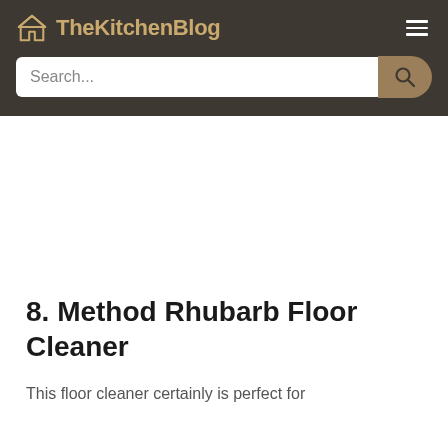TheKitchenBlog
8. Method Rhubarb Floor Cleaner
This floor cleaner certainly is perfect for